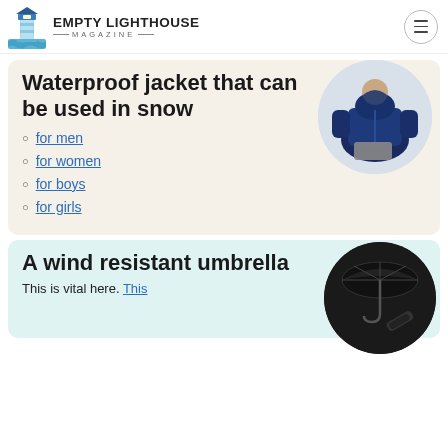EMPTY LIGHTHOUSE MAGAZINE
Waterproof jacket that can be used in snow
for men
for women
for boys
for girls
[Figure (photo): Man wearing a navy blue waterproof jacket with hood, displayed in a circular crop]
A wind resistant umbrella
This is vital here. This
[Figure (photo): Black wind resistant compact umbrella, open and closed versions, displayed in a circular crop]